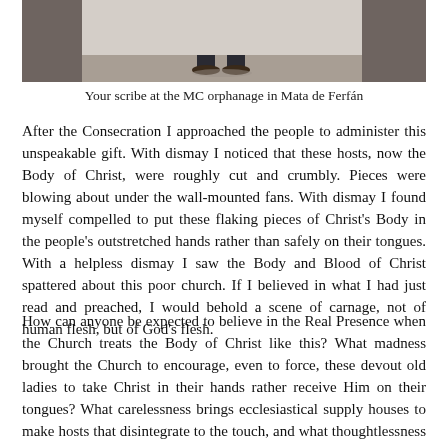[Figure (photo): Photo of a person standing at the MC orphanage in Mata de Ferfán, showing legs and sandals in the lower portion of the frame near a white wall.]
Your scribe at the MC orphanage in Mata de Ferfán
After the Consecration I approached the people to administer this unspeakable gift. With dismay I noticed that these hosts, now the Body of Christ, were roughly cut and crumbly. Pieces were blowing about under the wall-mounted fans. With dismay I found myself compelled to put these flaking pieces of Christ's Body in the people's outstretched hands rather than safely on their tongues. With a helpless dismay I saw the Body and Blood of Christ spattered about this poor church. If I believed in what I had just read and preached, I would behold a scene of carnage, not of human flesh, but of God's flesh.
How can anyone be expected to believe in the Real Presence when the Church treats the Body of Christ like this? What madness brought the Church to encourage, even to force, these devout old ladies to take Christ in their hands rather receive Him on their tongues? What carelessness brings ecclesiastical supply houses to make hosts that disintegrate to the touch, and what thoughtlessness brings bishops